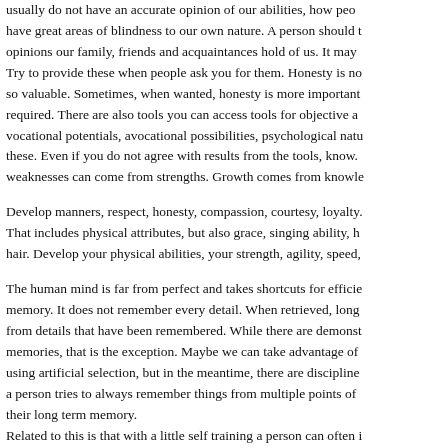usually do not have an accurate opinion of our abilities, how people have great areas of blindness to our own nature. A person should take opinions our family, friends and acquaintances hold of us. It may be Try to provide these when people ask you for them. Honesty is no so valuable. Sometimes, when wanted, honesty is more important required. There are also tools you can access tools for objective a vocational potentials, avocational possibilities, psychological natu these. Even if you do not agree with results from the tools, know. weaknesses can come from strengths. Growth comes from knowle
Develop manners, respect, honesty, compassion, courtesy, loyalty. That includes physical attributes, but also grace, singing ability, h hair. Develop your physical abilities, your strength, agility, speed,
The human mind is far from perfect and takes shortcuts for efficie memory. It does not remember every detail. When retrieved, long from details that have been remembered. While there are demonst memories, that is the exception. Maybe we can take advantage of using artificial selection, but in the meantime, there are discipline a person tries to always remember things from multiple points of their long term memory. Related to this is that with a little self training a person can often i that I am a follower of Asura, a mythical God whose followers wo causes natural illusions and when they occur. One should develop more of the story than is immediate to the eye. Most of the nerve from the brain to the eye. It is setting up the eye to look for patter